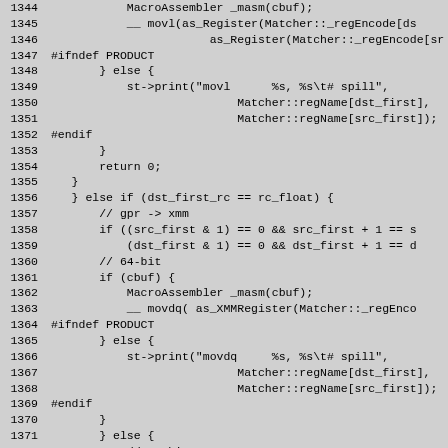Source code listing lines 1344-1373, C++ assembly code
1344    MacroAssembler _masm(cbuf);
1345    __ movl(as_Register(Matcher::_regEncode[ds
1346                as_Register(Matcher::_regEncode[sr
1347 #ifndef PRODUCT
1348         } else {
1349             st->print("movl    %s, %s\t# spill",
1350                         Matcher::regName[dst_first],
1351                         Matcher::regName[src_first]);
1352 #endif
1353         }
1354         return 0;
1355     }
1356     } else if (dst_first_rc == rc_float) {
1357         // gpr -> xmm
1358         if ((src_first & 1) == 0 && src_first + 1 == s
1359             (dst_first & 1) == 0 && dst_first + 1 == d
1360         // 64-bit
1361         if (cbuf) {
1362             MacroAssembler _masm(cbuf);
1363             __ movdq( as_XMMRegister(Matcher::_regEnco
1364 #ifndef PRODUCT
1365         } else {
1366             st->print("movdq   %s, %s\t# spill",
1367                         Matcher::regName[dst_first],
1368                         Matcher::regName[src_first]);
1369 #endif
1370         }
1371         } else {
1372             // 32-bit
1373             assert(!((src_first & 1) == 0 && src_first -